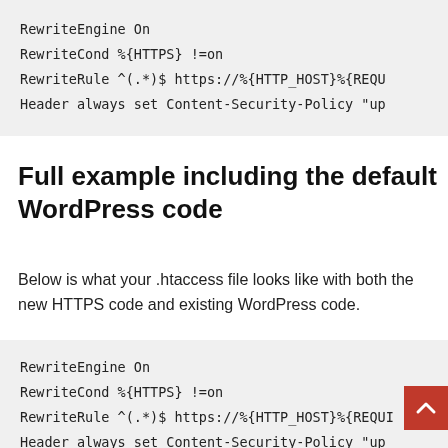[Figure (screenshot): Code block showing Apache .htaccess configuration: RewriteEngine On, RewriteCond %{HTTPS} !=on, RewriteRule ^(.*)$ https://%{HTTP_HOST}%{REQU..., Header always set Content-Security-Policy "up...]
Full example including the default WordPress code
Below is what your .htaccess file looks like with both the new HTTPS code and existing WordPress code.
[Figure (screenshot): Code block showing Apache .htaccess configuration: RewriteEngine On, RewriteCond %{HTTPS} !=on, RewriteRule ^(.*)$ https://%{HTTP_HOST}%{REQU..., Header always set Content-Security-Policy "up...]